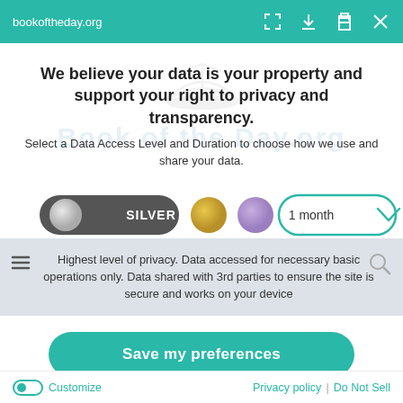bookoftheday.org
We believe your data is your property and support your right to privacy and transparency.
Select a Data Access Level and Duration to choose how we use and share your data.
[Figure (infographic): Privacy level selector with SILVER toggle button selected (dark gray pill with silver circle and SILVER label), a gold dot, a purple dot, and a '1 month' dropdown with teal border and chevron.]
Highest level of privacy. Data accessed for necessary basic operations only. Data shared with 3rd parties to ensure the site is secure and works on your device
Save my preferences
Customize   Privacy policy  |  Do Not Sell